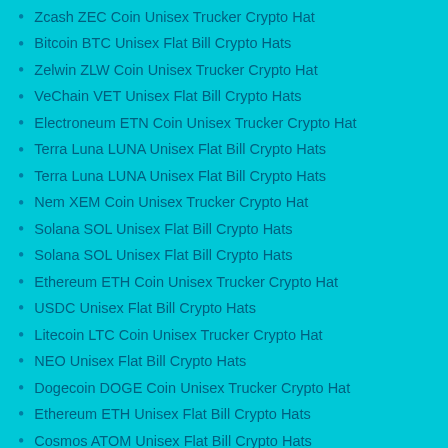Zcash ZEC Coin Unisex Trucker Crypto Hat
Bitcoin BTC Unisex Flat Bill Crypto Hats
Zelwin ZLW Coin Unisex Trucker Crypto Hat
VeChain VET Unisex Flat Bill Crypto Hats
Electroneum ETN Coin Unisex Trucker Crypto Hat
Terra Luna LUNA Unisex Flat Bill Crypto Hats
Terra Luna LUNA Unisex Flat Bill Crypto Hats
Nem XEM Coin Unisex Trucker Crypto Hat
Solana SOL Unisex Flat Bill Crypto Hats
Solana SOL Unisex Flat Bill Crypto Hats
Ethereum ETH Coin Unisex Trucker Crypto Hat
USDC Unisex Flat Bill Crypto Hats
Litecoin LTC Coin Unisex Trucker Crypto Hat
NEO Unisex Flat Bill Crypto Hats
Dogecoin DOGE Coin Unisex Trucker Crypto Hat
Ethereum ETH Unisex Flat Bill Crypto Hats
Cosmos ATOM Unisex Flat Bill Crypto Hats
Compound COMP Unisex Flat Bill Crypto Hats